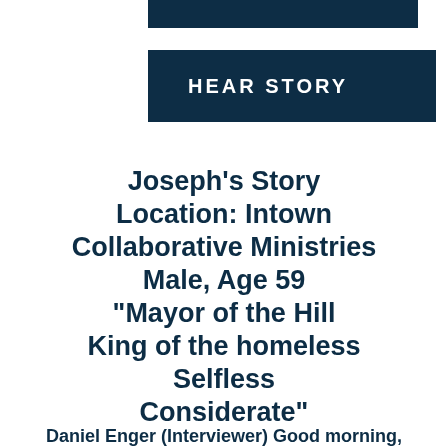[Figure (other): Dark navy horizontal bar at top of page]
HEAR STORY
Joseph's Story
Location: Intown Collaborative Ministries
Male, Age 59
"Mayor of the Hill
King of the homeless
Selfless
Considerate"
Daniel Enger (Interviewer) Good morning,